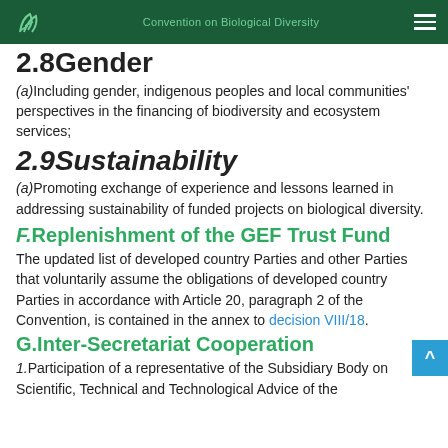Convention on Biological Diversity
2.8 Gender
(a) Including gender, indigenous peoples and local communities' perspectives in the financing of biodiversity and ecosystem services;
2.9 Sustainability
(a) Promoting exchange of experience and lessons learned in addressing sustainability of funded projects on biological diversity.
F. Replenishment of the GEF Trust Fund
The updated list of developed country Parties and other Parties that voluntarily assume the obligations of developed country Parties in accordance with Article 20, paragraph 2 of the Convention, is contained in the annex to decision VIII/18.
G. Inter-Secretariat Cooperation
1. Participation of a representative of the Subsidiary Body on Scientific, Technical and Technological Advice of the